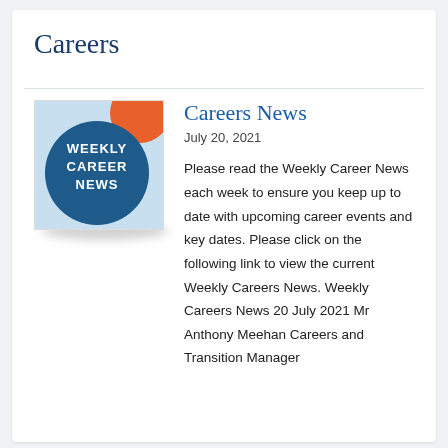Careers
[Figure (illustration): Circular blue badge logo with white text reading WEEKLY CAREER NEWS on a light blue background with a partial orange element at top]
Careers News
July 20, 2021
Please read the Weekly Career News each week to ensure you keep up to date with upcoming career events and key dates. Please click on the following link to view the current Weekly Careers News. Weekly Careers News 20 July 2021 Mr Anthony Meehan Careers and Transition Manager